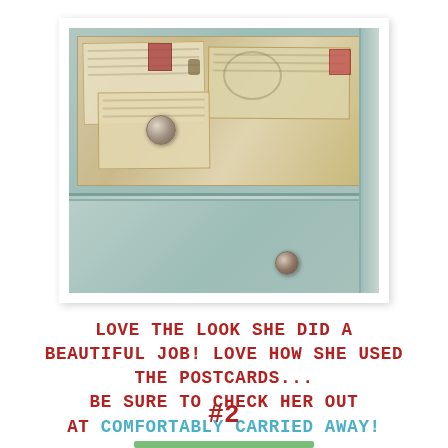[Figure (photo): A painted light blue/mint dresser with two drawers. The top drawer face is decorated with a collage of vintage postcards, stamps, and postmarks. The drawer has an ornate metal knob. The bottom drawer is plain with a smaller metal knob.]
LOVE THE LOOK SHE DID A BEAUTIFUL JOB! LOVE HOW SHE USED THE POSTCARDS... BE SURE TO CHECK HER OUT AT COMFORTABLY CARRIED AWAY!
#2